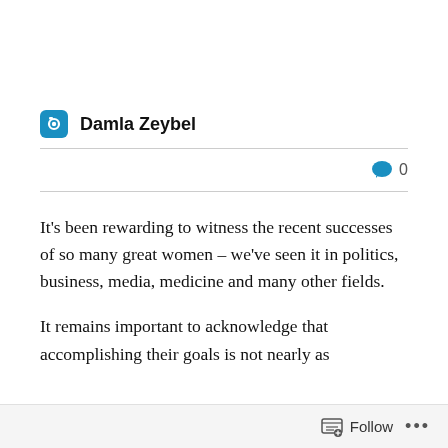Damla Zeybel
0
It's been rewarding to witness the recent successes of so many great women – we've seen it in politics, business, media, medicine and many other fields.
It remains important to acknowledge that accomplishing their goals is not nearly as
Follow ...